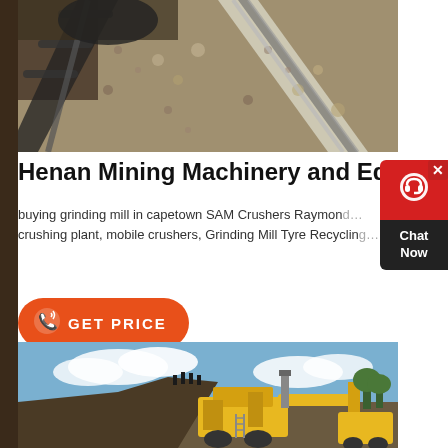[Figure (photo): Aerial view of a mining conveyor belt system with crushed stone/aggregate material on multiple parallel belts]
Henan Mining Machinery and Equipment
buying grinding mill in capetown SAM Crushers Raymond... crushing plant, mobile crushers, Grinding Mill Tyre Recycling...
[Figure (other): GET PRICE button with phone icon, orange rounded rectangle]
[Figure (photo): Yellow mobile crusher/mining equipment on a gravel mound with workers visible on top and cloudy sky background]